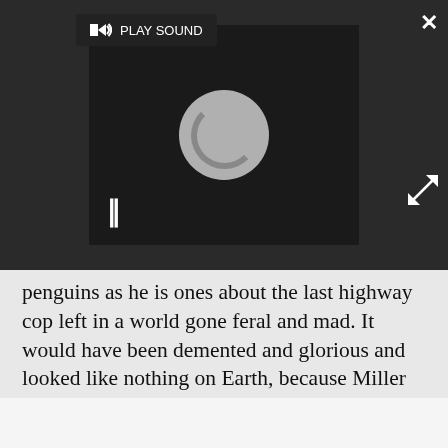[Figure (screenshot): Video player overlay with dark background, a loading spinner circle in center, pause button (II) bottom-left, PLAY SOUND button top-left, close (X) button top-right, and expand arrows bottom-right.]
penguins as he is ones about the last highway cop left in a world gone feral and mad. It would have been demented and glorious and looked like nothing on Earth, because Miller has the same background as Jones; small, creative, punky. After all, Joss Whedon's background prior to The Avengers was a cult TV show, another cult TV show, the world's cultiest cancelled TV show, it's critically lauded but financially unspectacular movie sequel and another cult TV show, that then got cancelled. Interesting things happen when you give the eccentric underdog movies like this and I'd love to see what Jones could do with it